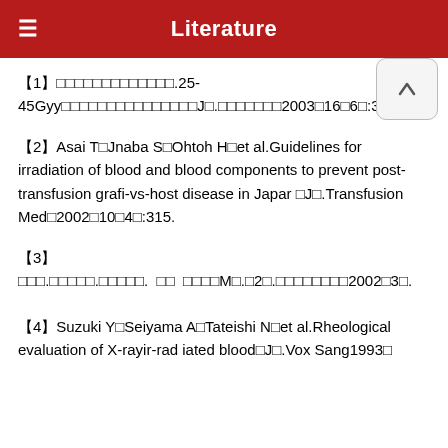Literature
【1】□□□□□□□□□□□□□.25-45Gyy□□□□□□□□□□□□□□□J□.□□□□□□□2003□16□6□:395□398.
【2】Asai T□Jnaba S□Ohtoh H□et al.Guidelines for irradiation of blood and blood components to prevent post-transfusion grafi-vs-host disease in Japar □J□.Transfusion Med□2002□10□4□:315.
【3】□□□.□□□□□.□□□□□.  □□  □□□□M□.□2□.□□□□□□□□2002□3□.
【4】Suzuki Y□Seiyama A□Tateishi N□et al.Rheological evaluation of X-rayir-rad iated blood□J□.Vox Sang1993□